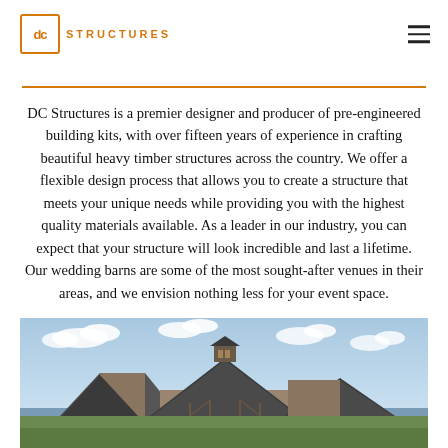DC Structures
DC Structures is a premier designer and producer of pre-engineered building kits, with over fifteen years of experience in crafting beautiful heavy timber structures across the country. We offer a flexible design process that allows you to create a structure that meets your unique needs while providing you with the highest quality materials available. As a leader in our industry, you can expect that your structure will look incredible and last a lifetime. Our wedding barns are some of the most sought-after venues in their areas, and we envision nothing less for your event space.
[Figure (photo): Exterior photo of a DC Structures heavy timber building with a cupola on the roof, shown against a blue sky with clouds. The structure features barn-style architecture with dark roof panels and timber framing details.]